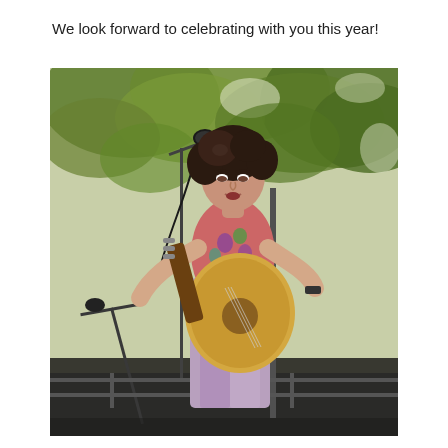We look forward to celebrating with you this year!
[Figure (photo): A young woman with short dark curly hair singing at a microphone stand outdoors, playing an acoustic guitar. She is wearing a colorful floral short-sleeve top and lavender/mauve wide-leg pants. There are green trees in the background. Additional microphone stands are visible in the foreground. The photo appears to be from the 1980s.]